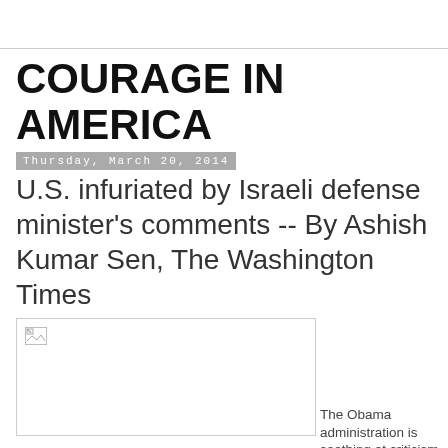COURAGE IN AMERICA
Thursday, March 20, 2014
U.S. infuriated by Israeli defense minister's comments -- By Ashish Kumar Sen, The Washington Times
[Figure (photo): Broken/missing image placeholder with border]
The Obama administration is seething at criticism from Israel's defense